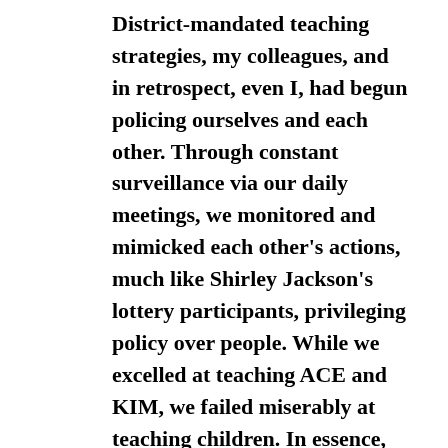District-mandated teaching strategies, my colleagues, and in retrospect, even I, had begun policing ourselves and each other. Through constant surveillance via our daily meetings, we monitored and mimicked each other's actions, much like Shirley Jackson's lottery participants, privileging policy over people. While we excelled at teaching ACE and KIM, we failed miserably at teaching children. In essence, we had suppressed ourselves and, in turn, oppressed our students.
So feeling a little like Pat Conroy in defense of his writing, I felt I could not just turn away in silence and accept my colleagues' criticism. That would be like turning away from my students. I had tried to teach them to speak ou against injustice; so clearly, I must do the